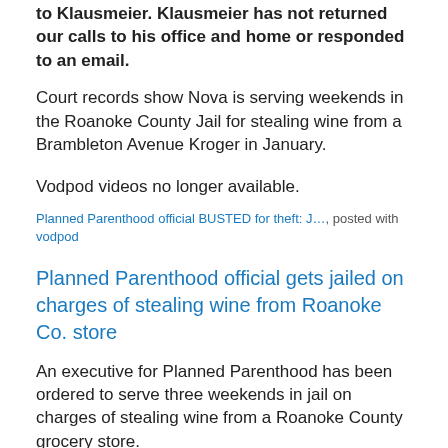to Klausmeier. Klausmeier has not returned our calls to his office and home or responded to an email.
Court records show Nova is serving weekends in the Roanoke County Jail for stealing wine from a Brambleton Avenue Kroger in January.
Vodpod videos no longer available.
Planned Parenthood official BUSTED for theft: J…, posted with vodpod
Planned Parenthood official gets jailed on charges of stealing wine from Roanoke Co. store
An executive for Planned Parenthood has been ordered to serve three weekends in jail on charges of stealing wine from a Roanoke County grocery store.
David Nova, vice president of Planned Parenthood Health Systems in Roanoke, was charged earlier this year with